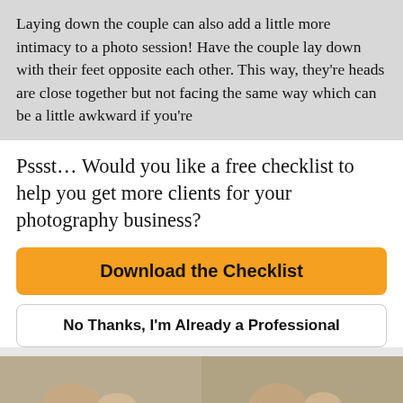Laying down the couple can also add a little more intimacy to a photo session! Have the couple lay down with their feet opposite each other. This way, they’re heads are close together but not facing the same way which can be a little awkward if you’re
Pssst… Would you like a free checklist to help you get more clients for your photography business?
Download the Checklist
No Thanks, I’m Already a Professional
[Figure (photo): Two side-by-side photos showing a couple lying down on sand, close-up of heads and hands near each other, intimate couple photography poses.]